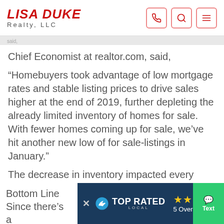LISA DUKE Realty, LLC
Chief Economist at realtor.com, said,
“Homebuyers took advantage of low mortgage rates and stable listing prices to drive sales higher at the end of 2019, further depleting the already limited inventory of homes for sale. With fewer homes coming up for sale, we’ve hit another new low of for sale-listings in January.”
The decrease in inventory impacted every price range, too. Here’s a graph showing the data released by move.com:The #1 Reason to List Your House Right Now | MyKCM
Bottom Line
Since there’s a
[Figure (screenshot): Top Rated Local badge overlay with dark blue background, bird logo, TOP RATED LOCAL text, 4 gold stars, '5 Overall Ra...' text and green Text button]